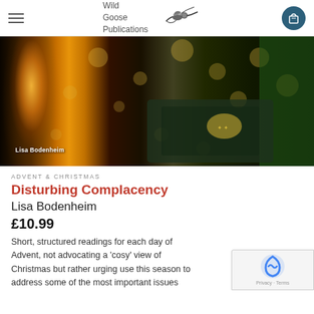Wild Goose Publications
[Figure (photo): Hero image showing a candle with bokeh Christmas lights, a Bible with gold embossed cover, and pine branches. Text overlay reads 'Lisa Bodenheim'.]
ADVENT & CHRISTMAS
Disturbing Complacency
Lisa Bodenheim
£10.99
Short, structured readings for each day of Advent, not advocating a 'cosy' view of Christmas but rather urging use this season to address some of the most important issues